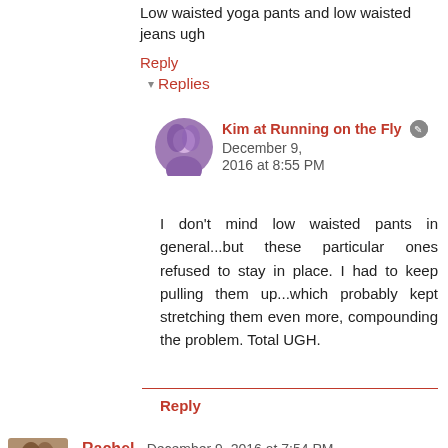Low waisted yoga pants and low waisted jeans ugh
Reply
▾ Replies
Kim at Running on the Fly  ✎  December 9, 2016 at 8:55 PM
I don't mind low waisted pants in general...but these particular ones refused to stay in place. I had to keep pulling them up...which probably kept stretching them even more, compounding the problem. Total UGH.
Reply
Rachel  December 9, 2016 at 7:54 PM
You win the internet for best post today. I HAVE to agree about the Color Run. I registered once and didn't even run because it was pouring rain when we woke up that morning. But I've heard terrible things. It's so expensive for